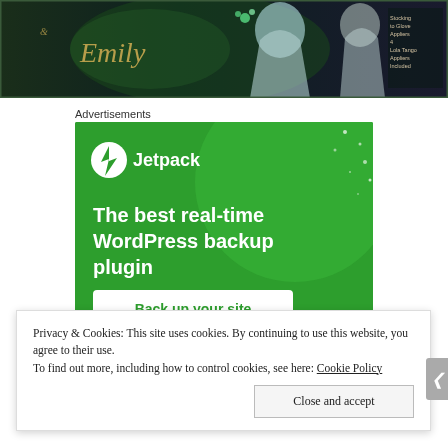[Figure (illustration): Dark fantasy/fashion banner image with script text 'Emily' on left side and decorative floral/character imagery in dark teal and green tones. Small text on right side about appliers.]
Advertisements
[Figure (screenshot): Jetpack advertisement for WordPress backup plugin. Green background with Jetpack logo (lightning bolt icon), text 'The best real-time WordPress backup plugin', and a white button 'Back up your site'.]
Privacy & Cookies: This site uses cookies. By continuing to use this website, you agree to their use.
To find out more, including how to control cookies, see here: Cookie Policy
Close and accept